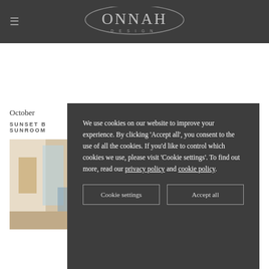ONNAH DESIGN
October
SUNSET B... SUNROOM...
[Figure (photo): Interior sunroom photo partially visible behind cookie modal]
We use cookies on our website to improve your experience. By clicking 'Accept all', you consent to the use of all the cookies. If you'd like to control which cookies we use, please visit 'Cookie settings'. To find out more, read our privacy policy and cookie policy.
Cookie settings
Accept all